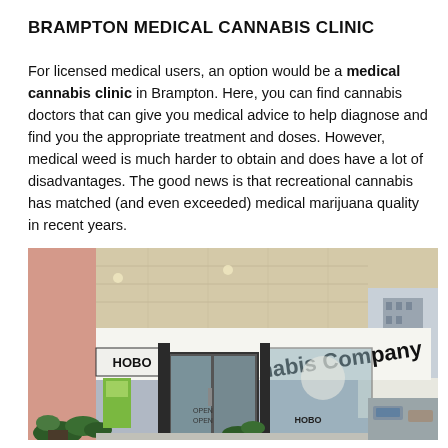BRAMPTON MEDICAL CANNABIS CLINIC
For licensed medical users, an option would be a medical cannabis clinic in Brampton. Here, you can find cannabis doctors that can give you medical advice to help diagnose and find you the appropriate treatment and doses. However, medical weed is much harder to obtain and does have a lot of disadvantages. The good news is that recreational cannabis has matched (and even exceeded) medical marijuana quality in recent years.
[Figure (photo): Exterior storefront of HOBO Cannabis Company, showing a modern entrance with large glass doors, a white canopy sign reading 'Cannabis Company' in large black letters, and a smaller sign reading 'HOBO'. Plants and a city building are visible in the background.]